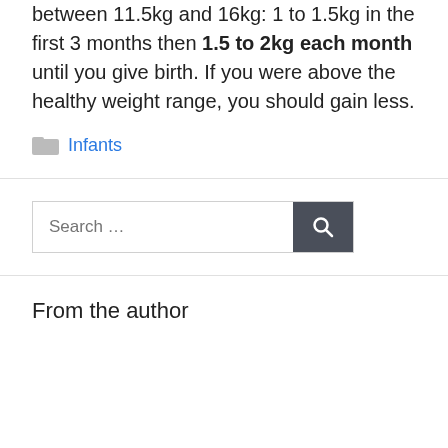between 11.5kg and 16kg: 1 to 1.5kg in the first 3 months then 1.5 to 2kg each month until you give birth. If you were above the healthy weight range, you should gain less.
Infants
Search ...
From the author